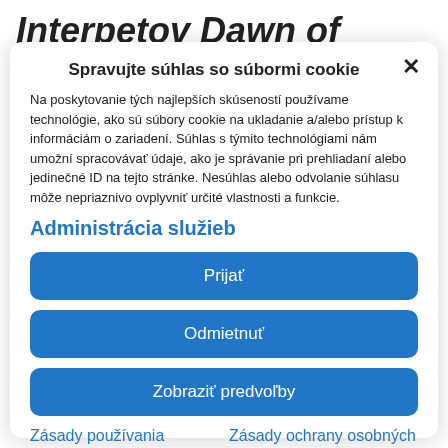Interpetov Dawn of Disease,
Spravujte súhlas so súbormi cookie
Na poskytovanie tých najlepších skúseností používame technológie, ako sú súbory cookie na ukladanie a/alebo prístup k informáciám o zariadení. Súhlas s týmito technológiami nám umožní spracovávať údaje, ako je správanie pri prehliadaní alebo jedinečné ID na tejto stránke. Nesúhlas alebo odvolanie súhlasu môže nepriaznivo ovplyvniť určité vlastnosti a funkcie.
Administrácia služieb
Prijať
Odmietnuť
Zobraziť predvoľby
Zásady používania súborov cookie
Zásady ochrany osobných údajov